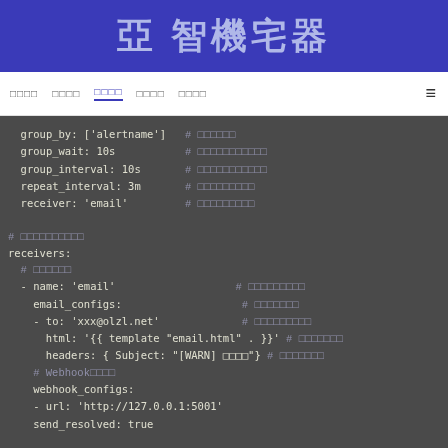亞 智機宅器
□□□□  □□□□  □□□□  □□□□  □□□□  ≡
group_by: ['alertname']   # □□□□□□
  group_wait: 10s            # □□□□□□□□□□□
  group_interval: 10s        # □□□□□□□□□□□
  repeat_interval: 3m        # □□□□□□□□□
  receiver: 'email'          # □□□□□□□□□

# □□□□□□□□□□
receivers:
  # □□□□□□
  - name: 'email'                        # □□□□□□□□□
    email_configs:                        # □□□□□□□
    - to: 'xxx@olzl.net'                  # □□□□□□□□□
      html: '{{ template "email.html" . }}'  # □□□□□□□
      headers: { Subject: "[WARN] □□□□"}  # □□□□□□□
    # Webhook□□□□
    webhook_configs:
    - url: 'http://127.0.0.1:5001'
    send_resolved: true